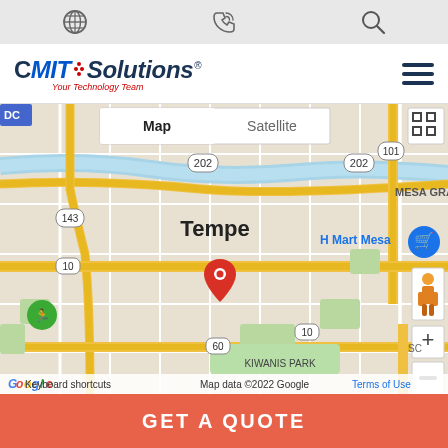Top navigation bar with globe, phone, and search icons
[Figure (logo): CMIT Solutions logo with tagline 'Your Technology Team']
[Figure (map): Google Maps view centered on Tempe, Arizona with a red location pin marker, showing map controls (Map/Satellite toggle, zoom +/-, street view pegman), nearby labels including H Mart Mesa, Kiwanis Park, Mesa Gra(nde), route numbers 202, 101, 143, 60, 10. Map data 2022 Google. Keyboard shortcuts. Terms of Use.]
GET A QUOTE